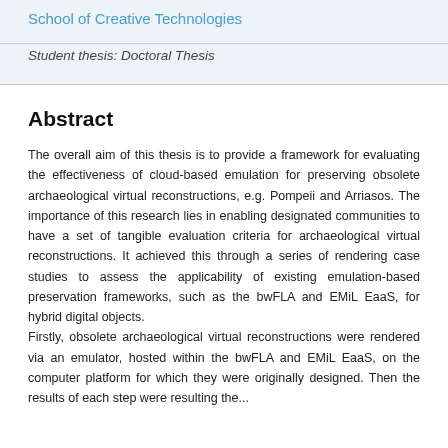School of Creative Technologies
Student thesis: Doctoral Thesis
Abstract
The overall aim of this thesis is to provide a framework for evaluating the effectiveness of cloud-based emulation for preserving obsolete archaeological virtual reconstructions, e.g. Pompeii and Arriasos. The importance of this research lies in enabling designated communities to have a set of tangible evaluation criteria for archaeological virtual reconstructions. It achieved this through a series of rendering case studies to assess the applicability of existing emulation-based preservation frameworks, such as the bwFLA and EMiL EaaS, for hybrid digital objects.
Firstly, obsolete archaeological virtual reconstructions were rendered via an emulator, hosted within the bwFLA and EMiL EaaS, on the computer platform for which they were originally designed. Then the results of each step were resulting the...